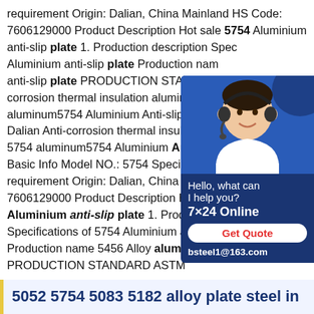requirement Origin: Dalian, China Mainland HS Code: 7606129000 Product Description Hot sale 5754 Aluminium anti-slip plate 1. Production description Spec Aluminium anti-slip plate Production nam anti-slip plate PRODUCTION STANDAR corrosion thermal insulation aluminum pl aluminum5754 Aluminium Anti-slip Plate Dalian Anti-corrosion thermal insulation a 5754 aluminum5754 Aluminium Anti-slip Basic Info Model NO.: 5754 Specification requirement Origin: Dalian, China Mainla 7606129000 Product Description Hot sale 5754 Aluminium anti-slip plate 1. Production description Specifications of 5754 Aluminium anti-slip plate Production name 5456 Alloy aluminum anti-slip plate PRODUCTION STANDARD ASTM
[Figure (other): Chat widget showing a customer service representative wearing a headset, with dark blue background, text 'Hello, what can I help you?', '7x24 Online', a red 'Get Quote' button, and email 'bsteel1@163.com']
5052 5754 5083 5182 alloy plate steel in